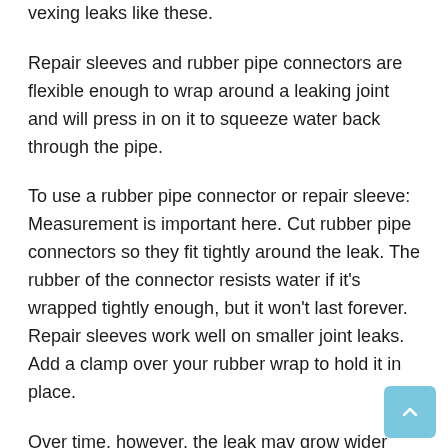vexing leaks like these.
Repair sleeves and rubber pipe connectors are flexible enough to wrap around a leaking joint and will press in on it to squeeze water back through the pipe.
To use a rubber pipe connector or repair sleeve: Measurement is important here. Cut rubber pipe connectors so they fit tightly around the leak. The rubber of the connector resists water if it’s wrapped tightly enough, but it won’t last forever. Repair sleeves work well on smaller joint leaks. Add a clamp over your rubber wrap to hold it in place.
Over time, however, the leak may grow wider